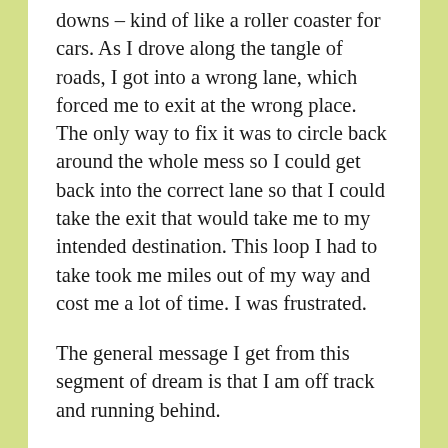downs – kind of like a roller coaster for cars. As I drove along the tangle of roads, I got into a wrong lane, which forced me to exit at the wrong place. The only way to fix it was to circle back around the whole mess so I could get back into the correct lane so that I could take the exit that would take me to my intended destination. This loop I had to take took me miles out of my way and cost me a lot of time. I was frustrated.
The general message I get from this segment of dream is that I am off track and running behind.
When I woke from the dream I thought, That highway scene was familiar. I wonder where it's from? I searched my brain trying to remember when and where in my past I had seen – and driven – that cluster of highway. Was it Binghamton, NY where I spent my mid-20's to late 30's? Definitely